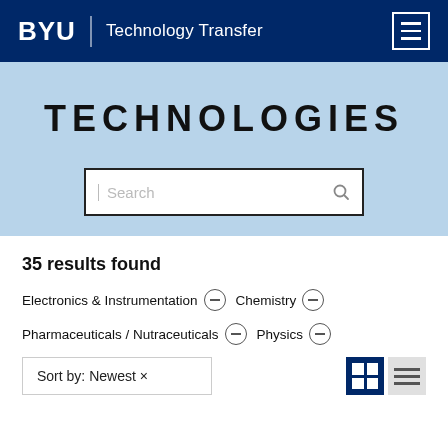BYU | Technology Transfer
TECHNOLOGIES
Search
35 results found
Electronics & Instrumentation
Chemistry
Pharmaceuticals / Nutraceuticals
Physics
Sort by: Newest